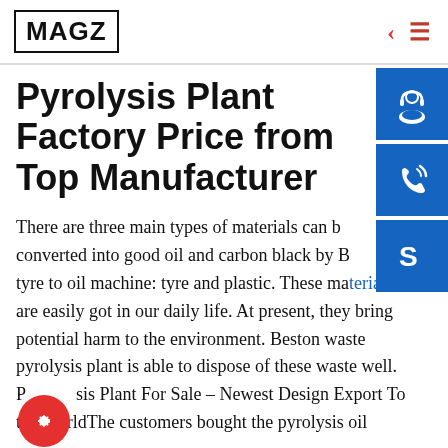MAGZ
Pyrolysis Plant Factory Price from Top Manufacturer
There are three main types of materials can be converted into good oil and carbon black by Beston tyre to oil machine: tyre and plastic. These materials are easily got in our daily life. At present, they bring potential harm to the environment. Beston waste pyrolysis plant is able to dispose of these waste well. Pyrolysis Plant For Sale – Newest Design Export To the WorldThe customers bought the pyrolysis oil